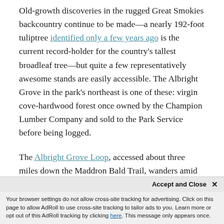Old-growth discoveries in the rugged Great Smokies backcountry continue to be made—a nearly 192-foot tuliptree identified only a few years ago is the current record-holder for the country's tallest broadleaf tree—but quite a few representatively awesome stands are easily accessible. The Albright Grove in the park's northeast is one of these: virgin cove-hardwood forest once owned by the Champion Lumber Company and sold to the Park Service before being logged.
The Albright Grove Loop, accessed about three miles down the Maddron Bald Trail, wanders amid grand tuliptrees (including a hulk 135 feet high and a bit more than 25 feet in circumference), eastern hemlocks, su...
Your browser settings do not allow cross-site tracking for advertising. Click on this page to allow AdRoll to use cross-site tracking to tailor ads to you. Learn more or opt out of this AdRoll tracking by clicking here. This message only appears once.